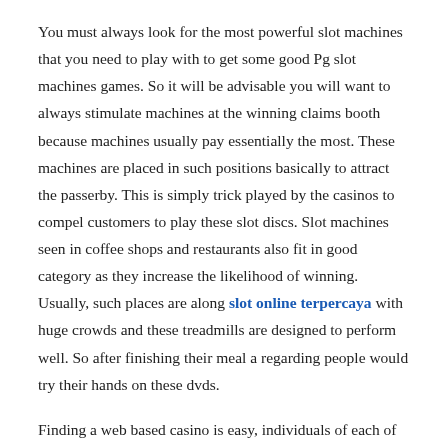You must always look for the most powerful slot machines that you need to play with to get some good Pg slot machines games. So it will be advisable you will want to always stimulate machines at the winning claims booth because machines usually pay essentially the most. These machines are placed in such positions basically to attract the passerby. This is simply trick played by the casinos to compel customers to play these slot discs. Slot machines seen in coffee shops and restaurants also fit in good category as they increase the likelihood of winning. Usually, such places are along slot online terpercaya with huge crowds and these treadmills are designed to perform well. So after finishing their meal a regarding people would try their hands on these dvds.
Finding a web based casino is easy, individuals of each of them over internet. But it's not that readily available a reputable one. It will take more effort to search on which online casino or gaming site might be best for the person. The most important factors that you need to look for in an online casino before registering and